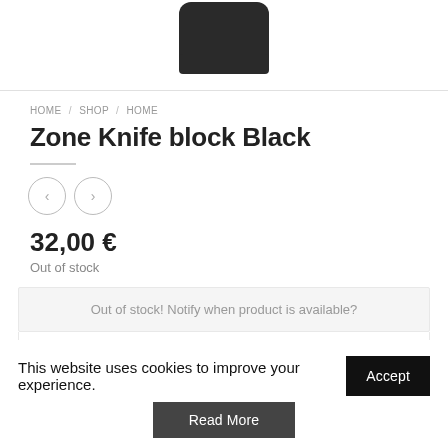[Figure (photo): Bottom portion of a black cylindrical knife block on a white background]
HOME / SHOP / HOME
Zone Knife block Black
[Figure (other): Navigation arrow buttons: left arrow and right arrow in circular outlines]
32,00 €
Out of stock
Out of stock! Notify when product is available?
Your Email Address
This website uses cookies to improve your experience.
Accept
Read More